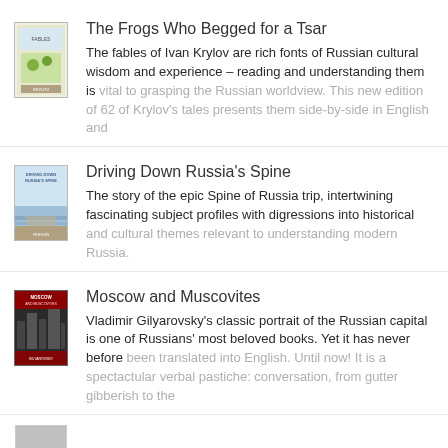[Figure (illustration): Book cover thumbnail for 'The Frogs Who Begged for a Tsar' — illustrated cover with light background]
The Frogs Who Begged for a Tsar
The fables of Ivan Krylov are rich fonts of Russian cultural wisdom and experience – reading and understanding them is vital to grasping the Russian worldview. This new edition of 62 of Krylov's tales presents them side-by-side in English and
[Figure (illustration): Book cover thumbnail for 'Driving Down Russia's Spine' — blue-toned cover]
Driving Down Russia's Spine
The story of the epic Spine of Russia trip, intertwining fascinating subject profiles with digressions into historical and cultural themes relevant to understanding modern Russia.
[Figure (illustration): Book cover thumbnail for 'Moscow and Muscovites' — dark cover with city imagery]
Moscow and Muscovites
Vladimir Gilyarovsky's classic portrait of the Russian capital is one of Russians' most beloved books. Yet it has never before been translated into English. Until now! It is a spectactular verbal pastiche: conversation, from gutter gibberish to the
[Figure (illustration): Partial book cover thumbnail at bottom — partially visible]